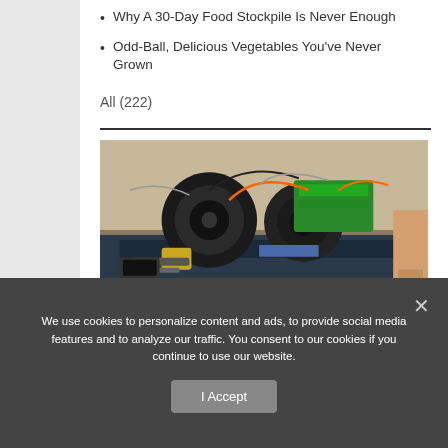Why A 30-Day Food Stockpile Is Never Enough
Odd-Ball, Delicious Vegetables You've Never Grown
All (222)
[Figure (photo): Workshop bench with electric motor assembly, green battery, wires and tools on a metal rail; a person's arm visible on the right side.]
We use cookies to personalize content and ads, to provide social media features and to analyze our traffic. You consent to our cookies if you continue to use our website.